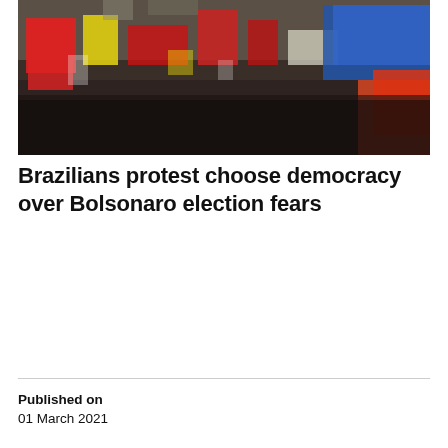[Figure (photo): Aerial view of a large crowd of protesters holding flags and banners in various colors including red, yellow, and blue. A blue tent is visible in the upper right area.]
Brazilians protest choose democracy over Bolsonaro election fears
Published on
01 March 2021